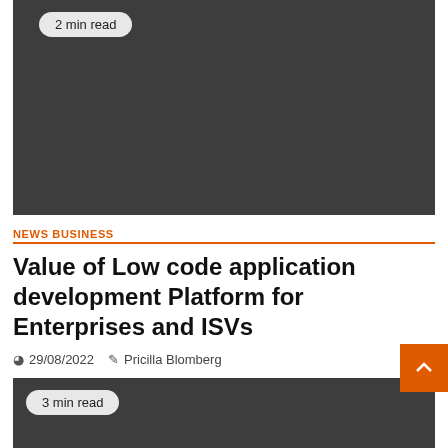[Figure (photo): Dark gray rectangular image block at the top of the page with a '2 min read' badge]
2 min read
NEWS BUSINESS
Value of Low code application development Platform for Enterprises and ISVs
29/08/2022  Pricilla Blomberg
[Figure (photo): Dark gray rectangular image block at the bottom of the page with a '3 min read' badge]